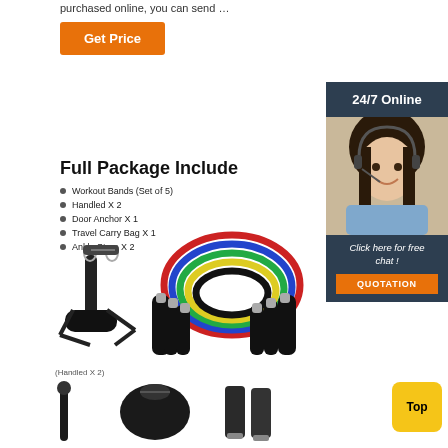purchased online, you can send …
Get Price
[Figure (photo): 24/7 Online support agent photo with headset, woman smiling]
Click here for free chat !
QUOTATION
Full Package Include
Workout Bands (Set of 5)
Handled X 2
Door Anchor X 1
Travel Carry Bag X 1
Ankle Strap X 2
[Figure (photo): Resistance band handle (Handled X 2) black rubber D-handle]
(Handled X 2)
[Figure (photo): Set of 5 colorful resistance bands with carabiners - red, blue, green, yellow bands]
[Figure (photo): Bottom row product accessories: door anchor stick, black carry bag, ankle straps]
Top